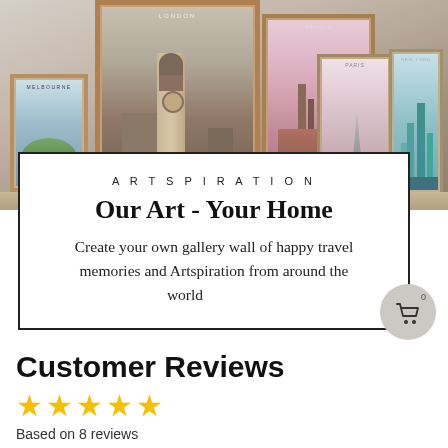[Figure (photo): Photograph of multiple framed city travel art prints on a shelf/ledge, including London (Big Ben), Prague, New York, Paris, and other city prints in wooden frames against a light wall background.]
ARTSPIRATION
Our Art - Your Home
Create your own gallery wall of happy travel memories and Artspiration from around the world
Customer Reviews
Based on 8 reviews